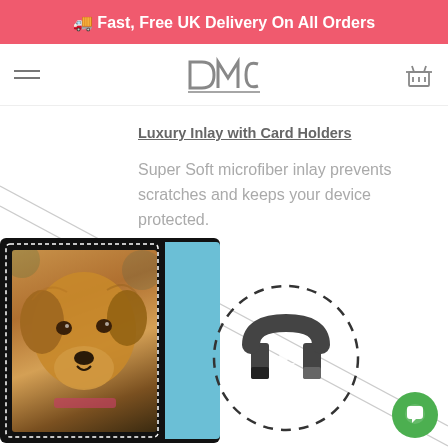🚚 Fast, Free UK Delivery On All Orders
[Figure (logo): DMC brand logo in stylized text with hamburger menu and shopping basket icons in navigation bar]
Luxury Inlay with Card Holders
Super Soft microfiber inlay prevents scratches and keeps your device protected.
[Figure (photo): Custom printed phone wallet case showing a golden retriever dog on the front cover, with turquoise interior visible and dashed stitching border]
[Figure (illustration): Magnet icon with horseshoe magnet shape and dashed circular lines indicating magnetic field, shown in lower right of content area]
[Figure (illustration): Green circular chat/messaging bubble icon in bottom right corner]